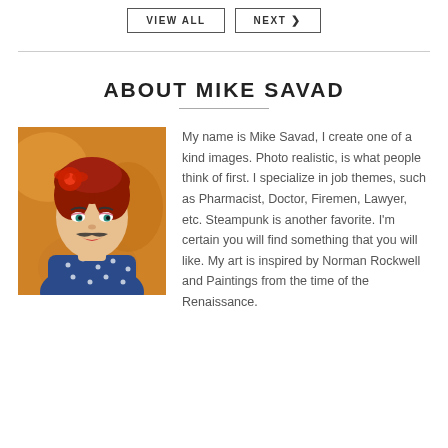VIEW ALL  NEXT >
ABOUT MIKE SAVAD
[Figure (photo): Portrait photo of a woman dressed in 1950s style with red hair, blue polka-dot dress, and a mustache — a quirky retro-styled image by Mike Savad]
My name is Mike Savad, I create one of a kind images. Photo realistic, is what people think of first. I specialize in job themes, such as Pharmacist, Doctor, Firemen, Lawyer, etc. Steampunk is another favorite. I'm certain you will find something that you will like. My art is inspired by Norman Rockwell and Paintings from the time of the Renaissance.